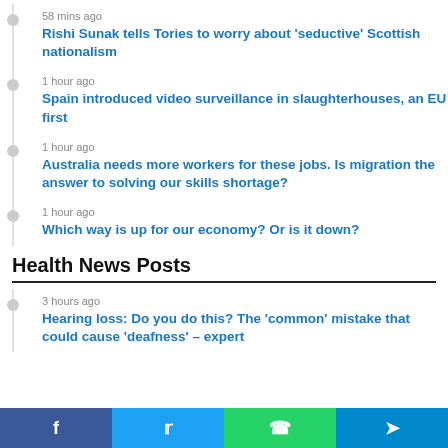58 mins ago — Rishi Sunak tells Tories to worry about 'seductive' Scottish nationalism
1 hour ago — Spain introduced video surveillance in slaughterhouses, an EU first
1 hour ago — Australia needs more workers for these jobs. Is migration the answer to solving our skills shortage?
1 hour ago — Which way is up for our economy? Or is it down?
Health News Posts
3 hours ago — Hearing loss: Do you do this? The 'common' mistake that could cause 'deafness' – expert